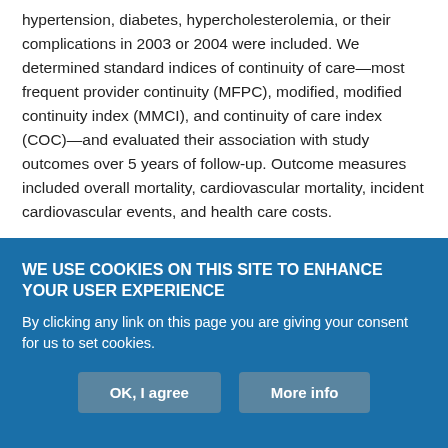hypertension, diabetes, hypercholesterolemia, or their complications in 2003 or 2004 were included. We determined standard indices of continuity of care—most frequent provider continuity (MFPC), modified, modified continuity index (MMCI), and continuity of care index (COC)—and evaluated their association with study outcomes over 5 years of follow-up. Outcome measures included overall mortality, cardiovascular mortality, incident cardiovascular events, and health care costs.
RESULTS The multivariable-adjusted hazard ratios (HRs) for all-cause mortality, cardiovascular mortality, incident myocardial
WE USE COOKIES ON THIS SITE TO ENHANCE YOUR USER EXPERIENCE
By clicking any link on this page you are giving your consent for us to set cookies.